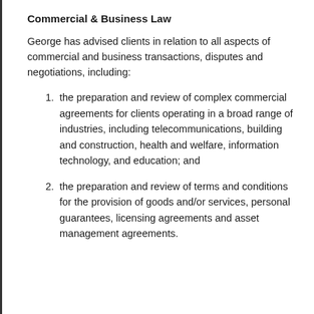Commercial & Business Law
George has advised clients in relation to all aspects of commercial and business transactions, disputes and negotiations, including:
the preparation and review of complex commercial agreements for clients operating in a broad range of industries, including telecommunications, building and construction, health and welfare, information technology, and education; and
the preparation and review of terms and conditions for the provision of goods and/or services, personal guarantees, licensing agreements and asset management agreements.